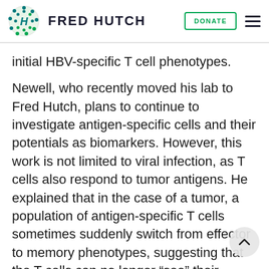FRED HUTCH
initial HBV-specific T cell phenotypes.
Newell, who recently moved his lab to Fred Hutch, plans to continue to investigate antigen-specific cells and their potentials as biomarkers. However, this work is not limited to viral infection, as T cells also respond to tumor antigens. He explained that in the case of a tumor, a population of antigen-specific T cells sometimes suddenly switch from effector to memory phenotypes, suggesting that the T cells can no longer “see” their antigen and that the tumor cells may be evading detection by thwarting presentation of the tumor antigen. Therefore, as in HBV, T cells might serve as the